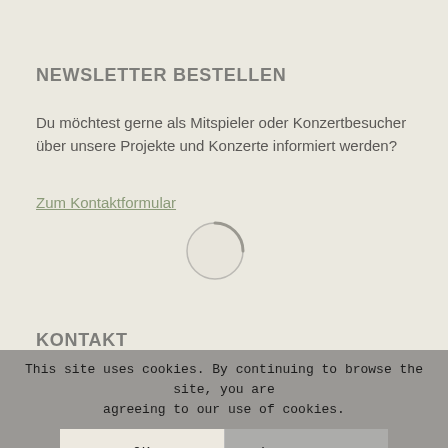NEWSLETTER BESTELLEN
Du möchtest gerne als Mitspieler oder Konzertbesucher über unsere Projekte und Konzerte informiert werden?
Zum Kontaktformular
[Figure (other): Loading spinner / activity indicator circle arc in grey]
KONTAKT
Norddeutsche Orchesterakademie e.V.
c/o Jan Kohlen
Alsterkrugchaussee ...
22297 Hamburg
This site uses cookies. By continuing to browse the site, you are agreeing to our use of cookies.
OK
Learn more